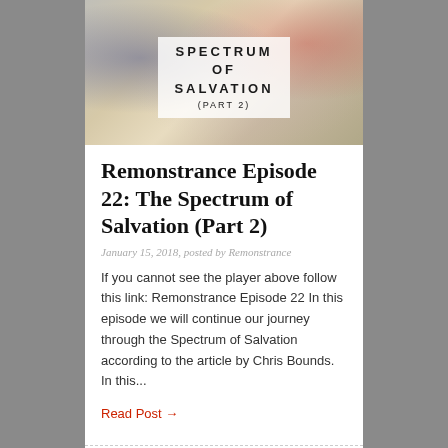[Figure (illustration): Book/podcast cover image with text overlay reading 'SPECTRUM OF SALVATION (PART 2)' on a white semi-transparent background, with colorful painted brushstrokes of blue, pink, and red on a metallic/foil background.]
Remonstrance Episode 22: The Spectrum of Salvation (Part 2)
January 15, 2018, posted by Remonstrance
If you cannot see the player above follow this link: Remonstrance Episode 22 In this episode we will continue our journey through the Spectrum of Salvation according to the article by Chris Bounds. In this...
Read Post →